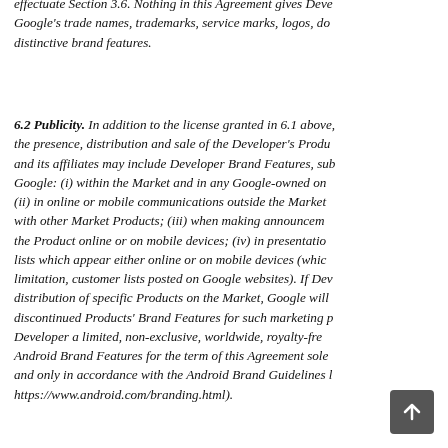effectuate Section 3.6. Nothing in this Agreement gives Developer any right to use Google's trade names, trademarks, service marks, logos, domain names, or other distinctive brand features.
6.2 Publicity. In addition to the license granted in 6.1 above, Google may publicize the presence, distribution and sale of the Developer's Products on the Market. Google and its affiliates may include Developer Brand Features, subject to written approval by Google: (i) within the Market and in any Google-owned online or mobile properties; (ii) in online or mobile communications outside the Market in connection with other Market Products; (iii) when making announcements related to promoting the Product online or on mobile devices; (iv) in presentations, marketing materials, lists which appear either online or on mobile devices (which lists include, without limitation, customer lists posted on Google websites). If Developer discontinues distribution of specific Products on the Market, Google will cease to use those discontinued Products' Brand Features for such marketing purposes. Google grants Developer a limited, non-exclusive, worldwide, royalty-free license to use Google's Android Brand Features for the term of this Agreement solely to comply with and only in accordance with the Android Brand Guidelines located at (https://www.android.com/branding.html).